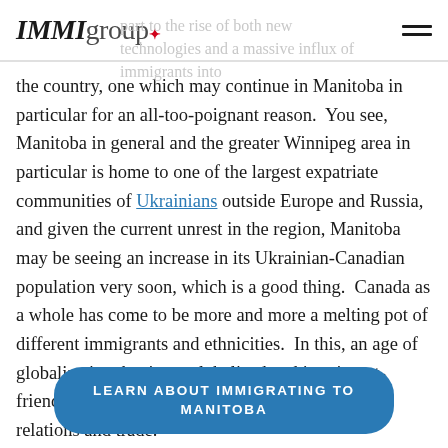IMMIgroup
the country, one which may continue in Manitoba in particular for an all-too-poignant reason.  You see, Manitoba in general and the greater Winnipeg area in particular is home to one of the largest expatriate communities of Ukrainians outside Europe and Russia, and given the current unrest in the region, Manitoba may be seeing an increase in its Ukrainian-Canadian population very soon, which is a good thing.  Canada as a whole has come to be more and more a melting pot of different immigrants and ethnicities.  In this, an age of globalization, having a globalized and immigrant-friendly nation can be the lifeblood of diplomatic relations and trade.
LEARN ABOUT IMMIGRATING TO MANITOBA